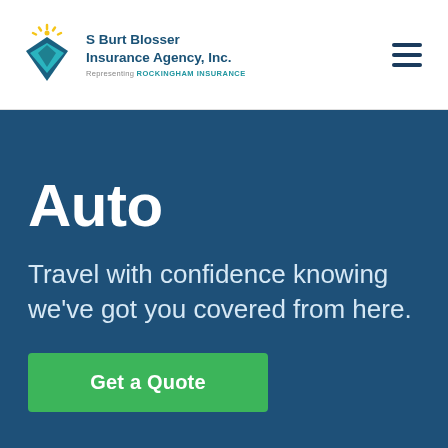[Figure (logo): S Burt Blosser Insurance Agency, Inc. logo with diamond/shield shape in blue and teal with sun rays, representing Rockingham Insurance]
S Burt Blosser Insurance Agency, Inc. Representing ROCKINGHAM INSURANCE
Auto
Travel with confidence knowing we've got you covered from here.
Get a Quote